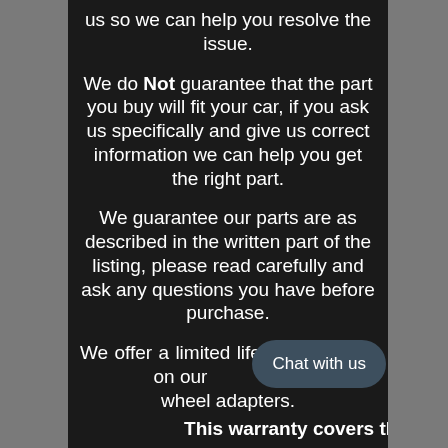us so we can help you resolve the issue.
We do Not guarantee that the part you buy will fit your car, if you ask us specifically and give us correct information we can help you get the right part.
We guarantee our parts are as described in the written part of the listing, please read carefully and ask any questions you have before purchase.
We offer a limited lifetime warranty on our wheel adapters.
This warranty covers the